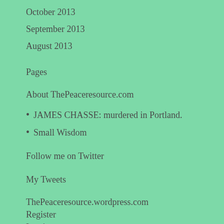October 2013
September 2013
August 2013
Pages
About ThePeaceresource.com
JAMES CHASSE: murdered in Portland.
Small Wisdom
Follow me on Twitter
My Tweets
ThePeaceresource.wordpress.com
Register
Log in